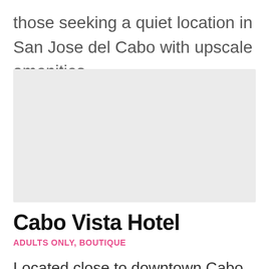those seeking a quiet location in San Jose del Cabo with upscale amenities …
[Figure (photo): Hotel image placeholder — light gray rectangle]
Cabo Vista Hotel
ADULTS ONLY, BOUTIQUE
Located close to downtown Cabo San Lucas and within walking distance of many local